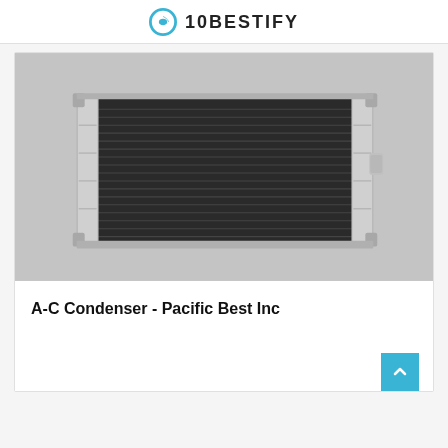10BESTIFY
[Figure (photo): A-C Condenser product photo showing a rectangular automotive air conditioning condenser unit with dark finned core and silver/aluminum end tanks on a gray background]
A-C Condenser - Pacific Best Inc